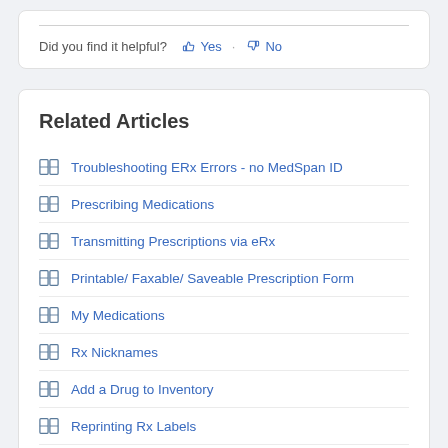Did you find it helpful? 👍 Yes · 👎 No
Related Articles
Troubleshooting ERx Errors - no MedSpan ID
Prescribing Medications
Transmitting Prescriptions via eRx
Printable/ Faxable/ Saveable Prescription Form
My Medications
Rx Nicknames
Add a Drug to Inventory
Reprinting Rx Labels
Adding an NCDPD Identifier for a Manually Added